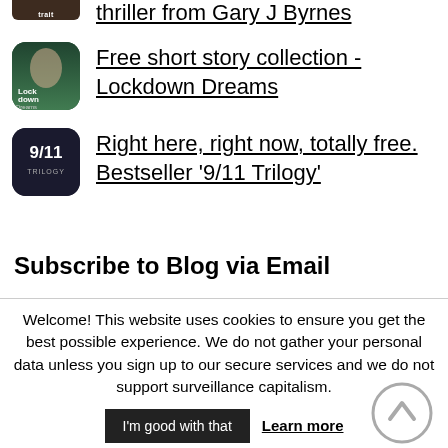thriller from Gary J Byrnes
[Figure (illustration): Book cover thumbnail for Lockdown Dreams - dark green with a face]
Free short story collection - Lockdown Dreams
[Figure (illustration): Book cover thumbnail for 9/11 Trilogy - dark background with 9/11 TRILOGY text]
Right here, right now, totally free. Bestseller '9/11 Trilogy'
Subscribe to Blog via Email
Welcome! This website uses cookies to ensure you get the best possible experience. We do not gather your personal data unless you sign up to our secure services and we do not support surveillance capitalism.
I'm good with that   Learn more